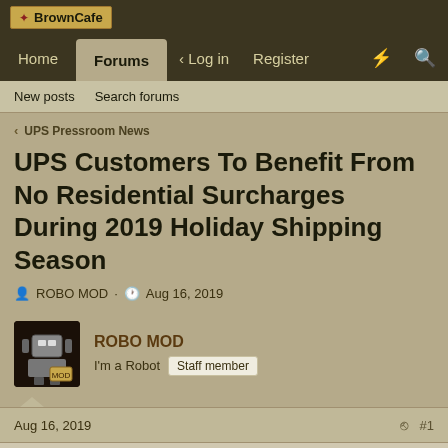BbrownCafe
Home | Forums | Log in | Register
New posts | Search forums
< UPS Pressroom News
UPS Customers To Benefit From No Residential Surcharges During 2019 Holiday Shipping Season
ROBO MOD · Aug 16, 2019
ROBO MOD
I'm a Robot Staff member
Aug 16, 2019 #1
Builds on UPS's Commitment to Help All Customers Grow and Succeed